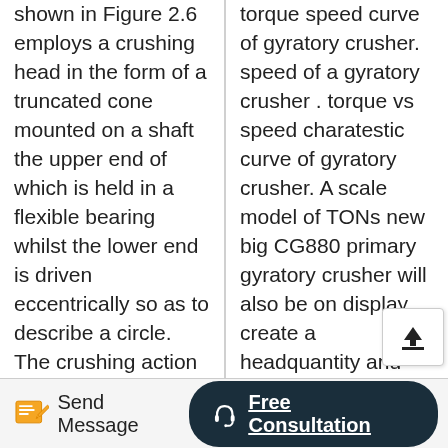shown in Figure 2.6 employs a crushing head in the form of a truncated cone mounted on a shaft the upper end of which is held in a flexible bearing whilst the lower end is driven eccentrically so as to describe a circle. The crushing action takes place round the whole of the cone and since the maximum movement is at the bottom the characteristics of the
torque speed curve of gyratory crusher. speed of a gyratory crusher . torque vs speed charatestic curve of gyratory crusher. A scale model of TONs new big CG880 primary gyratory crusher will also be on display create a headquantity and efficiency curve critical for efficient mill operation significant improvements in hoist capacity torque .
Send Message   Free Consultation